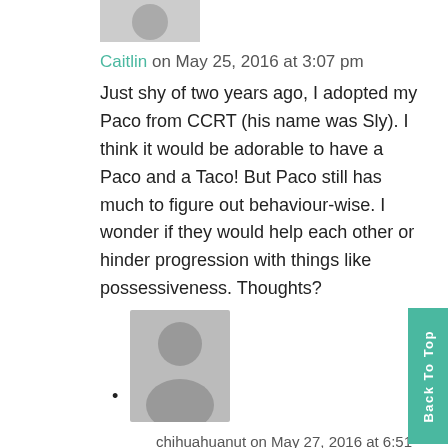[Figure (illustration): Partial grey avatar silhouette (person icon) at top of page, cropped]
Caitlin on May 25, 2016 at 3:07 pm
Just shy of two years ago, I adopted my Paco from CCRT (his name was Sly). I think it would be adorable to have a Paco and a Taco! But Paco still has much to figure out behaviour-wise. I wonder if they would help each other or hinder progression with things like possessiveness. Thoughts?
[Figure (illustration): Grey avatar silhouette (person icon) for reply commenter]
chihuahuanut on May 27, 2016 at 6:51 am
Thank you so much for choosing to adopt a dog from CCRT! Paco and Taco sound like a potential great dynamic duo! It's difficult to know if they would be good for each other. You may wish to email us at info@ccrt.net